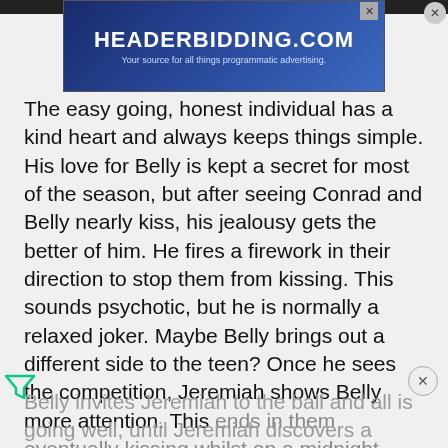[Figure (screenshot): Advertisement banner for headerbidding.com with text 'HEADERBIDDING.COM — Your source for all things programmatic advertising.']
The easy going, honest individual has a kind heart and always keeps things simple. His love for Belly is kept a secret for most of the season, but after seeing Conrad and Belly nearly kiss, his jealousy gets the better of him. He fires a firework in their direction to stop them from kissing. This sounds psychotic, but he is normally a relaxed joker. Maybe Belly brings out a different side to the teen? Once he sees the competition, Jeremiah shows Belly more attention. This ends in them eventually kissing whilst on a midnight swim.
Belly invites Jeremiah to the ball and all is going well, until Jeremiah discovers a